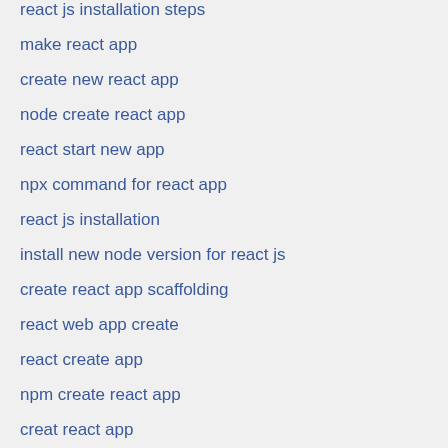react js installation steps
make react app
create new react app
node create react app
react start new app
npx command for react app
react js installation
install new node version for react js
create react app scaffolding
react web app create
react create app
npm create react app
creat react app
create readct app